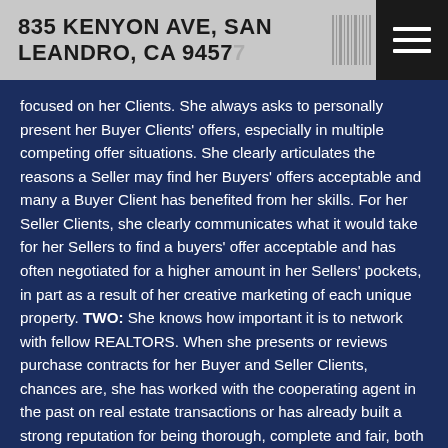835 KENYON AVE, SAN LEANDRO, CA 94577
focused on her Clients. She always asks to personally present her Buyer Clients' offers, especially in multiple competing offer situations. She clearly articulates the reasons a Seller may find her Buyers' offers acceptable and many a Buyer Client has benefited from her skills. For her Seller Clients, she clearly communicates what it would take for her Sellers to find a buyers' offer acceptable and has often negotiated for a higher amount in her Sellers' pockets, in part as a result of her creative marketing of each unique property. TWO: She knows how important it is to network with fellow REALTORS. When she presents or reviews purchase contracts for her Buyer and Seller Clients, chances are, she has worked with the cooperating agent in the past on real estate transactions or has already built a strong reputation for being thorough, complete and fair, both in the REALTOR community and the community